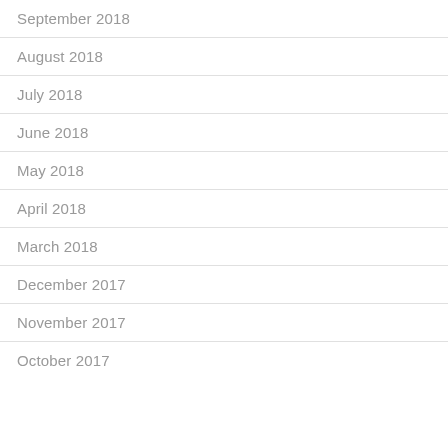September 2018
August 2018
July 2018
June 2018
May 2018
April 2018
March 2018
December 2017
November 2017
October 2017